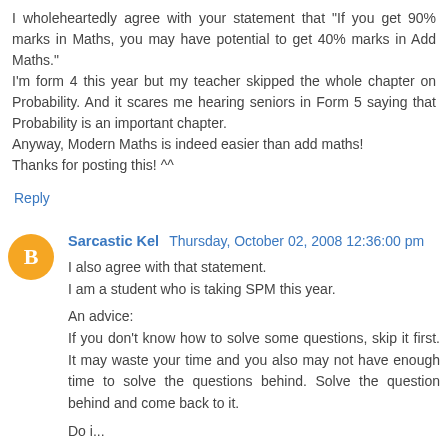I wholeheartedly agree with your statement that "If you get 90% marks in Maths, you may have potential to get 40% marks in Add Maths."
I'm form 4 this year but my teacher skipped the whole chapter on Probability. And it scares me hearing seniors in Form 5 saying that Probability is an important chapter.
Anyway, Modern Maths is indeed easier than add maths!
Thanks for posting this! ^^
Reply
Sarcastic Kel  Thursday, October 02, 2008 12:36:00 pm
I also agree with that statement.
I am a student who is taking SPM this year.

An advice:
If you don't know how to solve some questions, skip it first. It may waste your time and you also may not have enough time to solve the questions behind. Solve the question behind and come back to it.